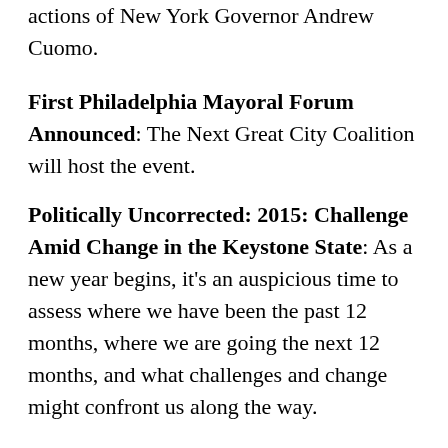actions of New York Governor Andrew Cuomo.
First Philadelphia Mayoral Forum Announced: The Next Great City Coalition will host the event.
Politically Uncorrected: 2015: Challenge Amid Change in the Keystone State: As a new year begins, it's an auspicious time to assess where we have been the past 12 months, where we are going the next 12 months, and what challenges and change might confront us along the way.
Why Joe Sestak Will Be the Democratic Nominee Against Pat Toomey: A guest take on the advantages Sestak holds in a Democratic primary.